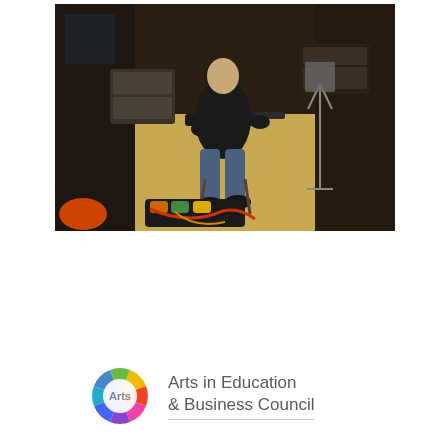[Figure (photo): A bald man sits on a chair in a recording studio or rehearsal room, playing an electric guitar. Various guitar pedals and equipment cases are visible on the floor. Music stands and other instruments can be seen in the background.]
[Figure (logo): Arts in Education & Business Council logo: a circular pinwheel icon made of colored segments (blue, green, yellow, red, purple, pink) with 'Arts' text in white, next to the text 'Arts in Education & Business Council' in gray.]